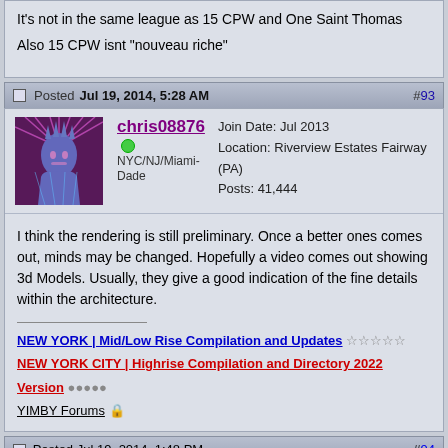It's not in the same league as 15 CPW and One Saint Thomas

Also 15 CPW isnt "nouveau riche"
Posted Jul 19, 2014, 5:28 AM #93
[Figure (illustration): Avatar image of Statue of Liberty in pink/magenta and blue colors]
chris08876
NYC/NJ/Miami-Dade
Join Date: Jul 2013
Location: Riverview Estates Fairway (PA)
Posts: 41,444
I think the rendering is still preliminary. Once a better ones comes out, minds may be changed. Hopefully a video comes out showing 3d Models. Usually, they give a good indication of the fine details within the architecture.
NEW YORK | Mid/Low Rise Compilation and Updates ☆☆☆☆☆
NEW YORK CITY | Highrise Compilation and Directory 2022 Version ●●●●●
YIMBY Forums 🔒
Posted Jul 19, 2014, 1:48 PM #94
vandelay
Join Date: Apr 2009